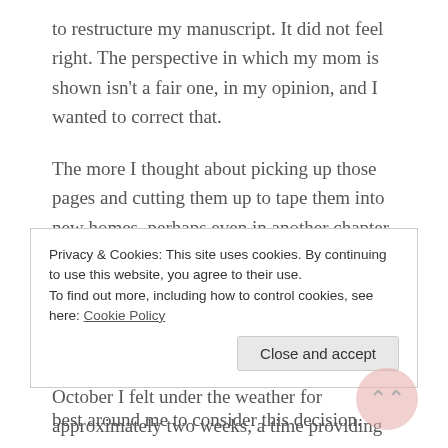to restructure my manuscript. It did not feel right. The perspective in which my mom is shown isn't a fair one, in my opinion, and I wanted to correct that.
The more I thought about picking up those pages and cutting them up to tape them into new homes, perhaps even in another chapter, I could not bring myself to touch that project.
It didn't help that when we returned from a weekend getaway the first weekend in October I felt under the weather for approximately two weeks, a time providing me with the
Privacy & Cookies: This site uses cookies. By continuing to use this website, you agree to their use.
To find out more, including how to control cookies, see here: Cookie Policy
best around me to consider this decision.